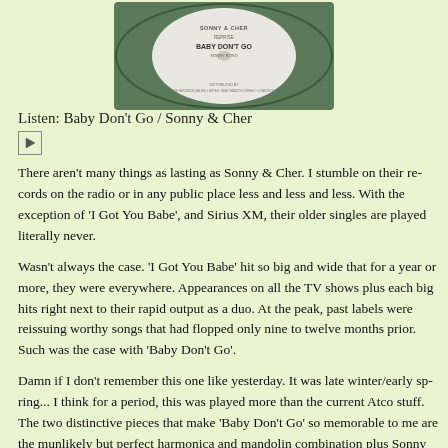[Figure (photo): Green vinyl record label for 'Baby Don't Go' by Sonny & Cher, distributed by Pye Records (Sales) Limited, 30a Chandos Street, London W1]
Listen: Baby Don't Go / Sonny & Cher
[Figure (other): Play button icon]
There aren't many things as lasting as Sonny & Cher. I stumble on their records on the radio or in any public place less and less and less. With the exception of 'I Got You Babe', and Sirius XM, their older singles are played literally never.
Wasn't always the case. 'I Got You Babe' hit so big and wide that for a year or more, they were everywhere. Appearances on all the TV shows plus each big hit right next to their rapid output as a duo. At the peak, past labels were reissuing worthy songs that had flopped only nine to twelve months prior. Such was the case with 'Baby Don't Go'.
Damn if I don't remember this one like yesterday. It was late winter/early spring... I think for a period, this was played more than the current Atco stuff. The two distinctive pieces that make 'Baby Don't Go' so memorable to me are the unlikely but perfect harmonica and mandolin combination plus Sonny & Cher's signature harmonizing, whereby Cher always sang the low parts against...